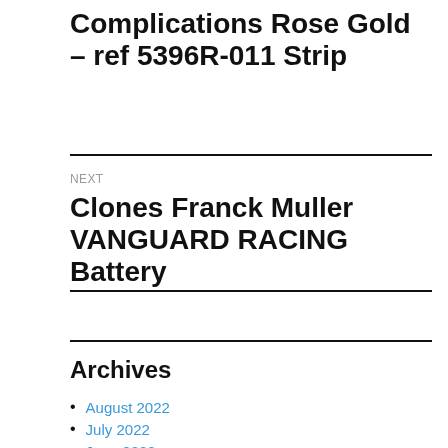Complications Rose Gold – ref 5396R-011 Strip
NEXT
Clones Franck Muller VANGUARD RACING Battery
Archives
August 2022
July 2022
June 2022